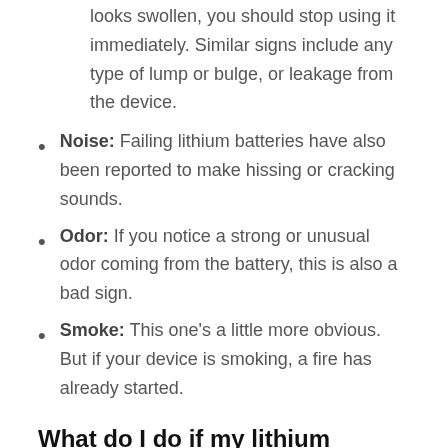looks swollen, you should stop using it immediately. Similar signs include any type of lump or bulge, or leakage from the device.
Noise: Failing lithium batteries have also been reported to make hissing or cracking sounds.
Odor: If you notice a strong or unusual odor coming from the battery, this is also a bad sign.
Smoke: This one’s a little more obvious. But if your device is smoking, a fire has already started.
What do I do if my lithium battery is failing?
If your device is showing any of the above warning